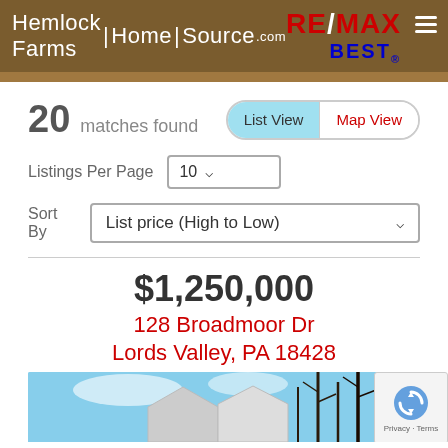[Figure (logo): Hemlock Farms Home Source .com RE/MAX BEST logo on brown background header]
20  matches found
List View  Map View
Listings Per Page  10
Sort By  List price (High to Low)
$1,250,000
128 Broadmoor Dr
Lords Valley, PA 18428
[Figure (photo): Exterior photo of house at 128 Broadmoor Dr with bare winter trees against blue sky]